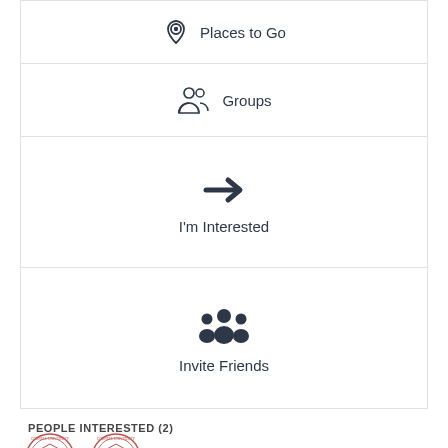Places to Go
Groups
I'm Interested
Invite Friends
PEOPLE INTERESTED (2)
[Figure (illustration): Two circular university seal avatar icons representing people interested]